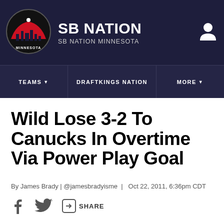SB NATION / SB NATION MINNESOTA
Wild Lose 3-2 To Canucks In Overtime Via Power Play Goal
By James Brady | @jamesbradyisme | Oct 22, 2011, 6:36pm CDT